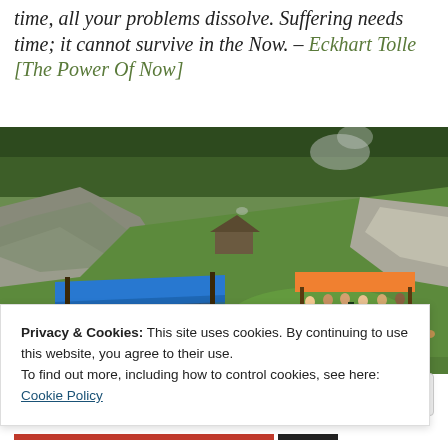time, all your problems dissolve. Suffering needs time; it cannot survive in the Now. – Eckhart Tolle [The Power Of Now]
[Figure (photo): Outdoor mountain landscape with a rustic wooden shelter with blue tarpaulin roof, a group of hikers/tourists gathered around an orange canopy, rocky hillsides with green grass and trees, smoke rising in the background.]
Privacy & Cookies: This site uses cookies. By continuing to use this website, you agree to their use.
To find out more, including how to control cookies, see here:
Cookie Policy